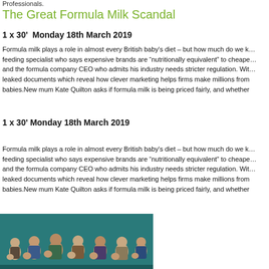Professionals.
The Great Formula Milk Scandal
1 x 30'  Monday 18th March 2019
Formula milk plays a role in almost every British baby's diet – but how much do we k… feeding specialist who says expensive brands are "nutritionally equivalent" to cheape… and the formula company CEO who admits his industry needs stricter regulation. Wit… leaked documents which reveal how clever marketing helps firms make millions from babies.New mum Kate Quilton asks if formula milk is being priced fairly, and whether
1 x 30' Monday 18th March 2019
Formula milk plays a role in almost every British baby's diet – but how much do we k… feeding specialist who says expensive brands are "nutritionally equivalent" to cheape… and the formula company CEO who admits his industry needs stricter regulation. Wit… leaked documents which reveal how clever marketing helps firms make millions from babies.New mum Kate Quilton asks if formula milk is being priced fairly, and whether
[Figure (photo): Group photo of several women and babies against a teal/green background]